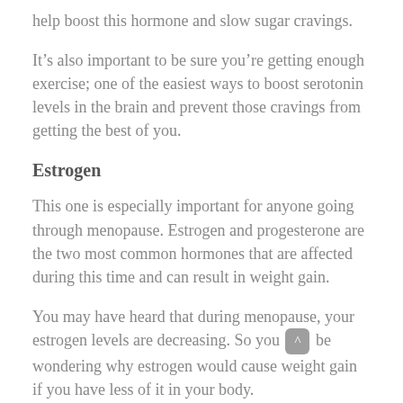help boost this hormone and slow sugar cravings.
It’s also important to be sure you’re getting enough exercise; one of the easiest ways to boost serotonin levels in the brain and prevent those cravings from getting the best of you.
Estrogen
This one is especially important for anyone going through menopause. Estrogen and progesterone are the two most common hormones that are affected during this time and can result in weight gain.
You may have heard that during menopause, your estrogen levels are decreasing. So you may be wondering why estrogen would cause weight gain if you have less of it in your body.